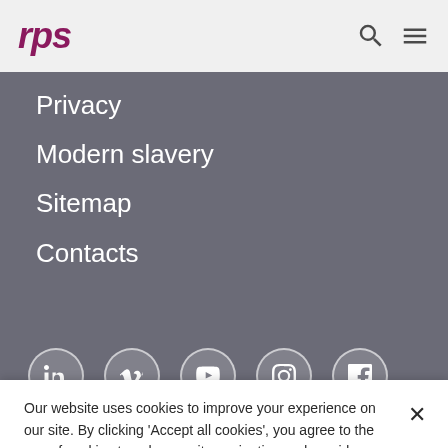rps
Privacy
Modern slavery
Sitemap
Contacts
[Figure (infographic): Social media icons row: LinkedIn, Vimeo, YouTube, Instagram, Facebook — white icons in circular outlines on grey background]
Our website uses cookies to improve your experience on our site. By clicking 'Accept all cookies', you agree to the use of cookies to enhance site navigation and provide more personalised services to you.
Cookies Settings
Accept all cookies